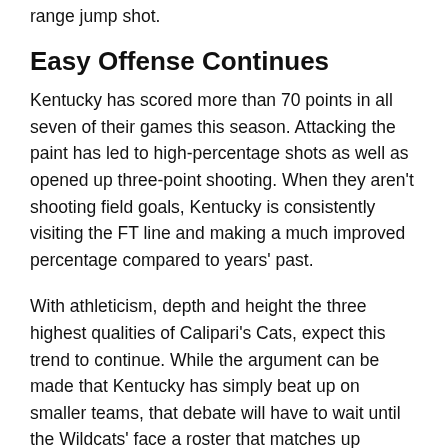range jump shot.
Easy Offense Continues
Kentucky has scored more than 70 points in all seven of their games this season. Attacking the paint has led to high-percentage shots as well as opened up three-point shooting. When they aren't shooting field goals, Kentucky is consistently visiting the FT line and making a much improved percentage compared to years' past.
With athleticism, depth and height the three highest qualities of Calipari's Cats, expect this trend to continue. While the argument can be made that Kentucky has simply beat up on smaller teams, that debate will have to wait until the Wildcats' face a roster that matches up against their height.